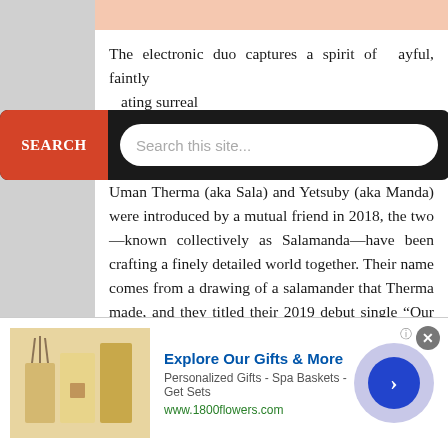[Figure (screenshot): Pink decorative bar at top of article]
The electronic duo captures a spirit of [playful, faintly] [ating surreal] vocals and mallet instruments.
[Figure (screenshot): Search bar overlay with dark background, red SEARCH button on left, and white rounded input field reading 'Search this site...']
Ever since the Seoul-based electronic musicians Uman Therma (aka Sala) and Yetsuby (aka Manda) were introduced by a mutual friend in 2018, the two—known collectively as Salamanda—have been crafting a finely detailed world together. Their name comes from a drawing of a salamander that Therma made, and they titled their 2019 debut single “Our Lair”—a gentle sketch for pulsing pads and
[Figure (screenshot): Advertisement banner for 1800flowers.com: 'Explore Our Gifts & More', Personalized Gifts - Spa Baskets - Get Sets, www.1800flowers.com, with product image and navigation arrow]